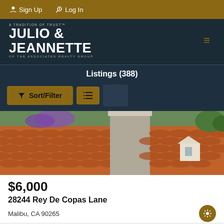Sign Up  Log In
[Figure (logo): Julio & Jeannette of The Associates Realty Group logo on dark background]
Listings (388)
Sort/Filter
[Figure (photo): Aerial view of terracotta tile rooftops with stucco chimney and trees in background]
$6,000
28244 Rey De Copas Lane
Malibu, CA 90265
For Rent  |  1,306 sqft  |  2 beds  |  3 baths  |  0.1278 acres  |  #22189741